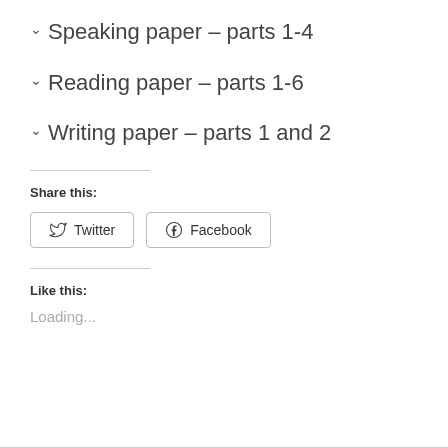Speaking paper - parts 1-4
Reading paper - parts 1-6
Writing paper - parts 1 and 2
Share this:
[Figure (other): Twitter and Facebook share buttons]
Like this:
Loading...